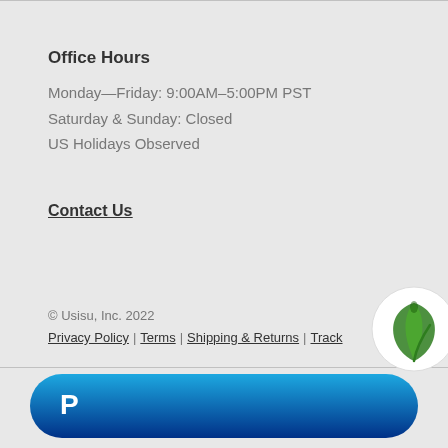Office Hours
Monday—Friday: 9:00AM–5:00PM PST
Saturday & Sunday: Closed
US Holidays Observed
Contact Us
© Usisu, Inc. 2022
Privacy Policy | Terms | Shipping & Returns | Track
[Figure (logo): Green leaf logo in white circle]
[Figure (logo): PayPal button with white P icon on blue gradient rounded rectangle]